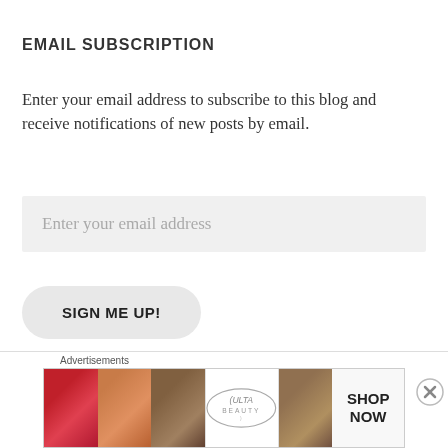EMAIL SUBSCRIPTION
Enter your email address to subscribe to this blog and receive notifications of new posts by email.
Enter your email address
SIGN ME UP!
NTM ON YOUTUBE
Advertisements
[Figure (photo): ULTA beauty advertisement banner with makeup imagery (lips, brush, eye, ULTA logo, eyebrow, SHOP NOW text) and a close button]